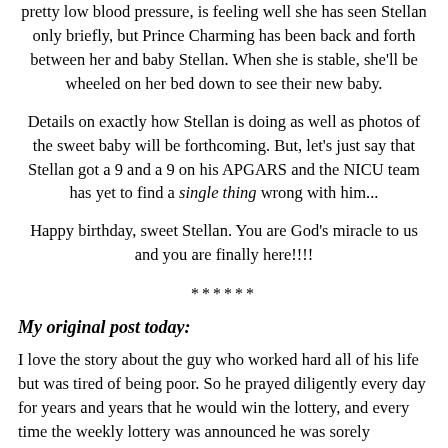pretty low blood pressure, is feeling well she has seen Stellan only briefly, but Prince Charming has been back and forth between her and baby Stellan. When she is stable, she'll be wheeled on her bed down to see their new baby.
Details on exactly how Stellan is doing as well as photos of the sweet baby will be forthcoming. But, let's just say that Stellan got a 9 and a 9 on his APGARS and the NICU team has yet to find a single thing wrong with him...
Happy birthday, sweet Stellan. You are God's miracle to us and you are finally here!!!!
******
My original post today:
I love the story about the guy who worked hard all of his life but was tired of being poor. So he prayed diligently every day for years and years that he would win the lottery, and every time the weekly lottery was announced he was sorely disappointed. Finally one night in prayer he cried out, "God, I